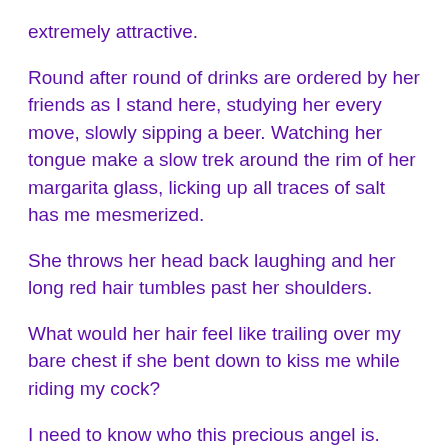extremely attractive.
Round after round of drinks are ordered by her friends as I stand here, studying her every move, slowly sipping a beer. Watching her tongue make a slow trek around the rim of her margarita glass, licking up all traces of salt has me mesmerized.
She throws her head back laughing and her long red hair tumbles past her shoulders.
What would her hair feel like trailing over my bare chest if she bent down to kiss me while riding my cock?
I need to know who this precious angel is. Seeing her tonight isn't a coincidence. Fate placed her in my path for a reason.